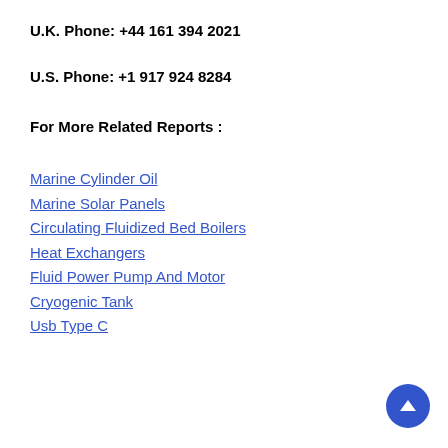U.K. Phone: +44 161 394 2021
U.S. Phone: +1 917 924 8284
For More Related Reports :
Marine Cylinder Oil
Marine Solar Panels
Circulating Fluidized Bed Boilers
Heat Exchangers
Fluid Power Pump And Motor
Cryogenic Tank
Usb Type C